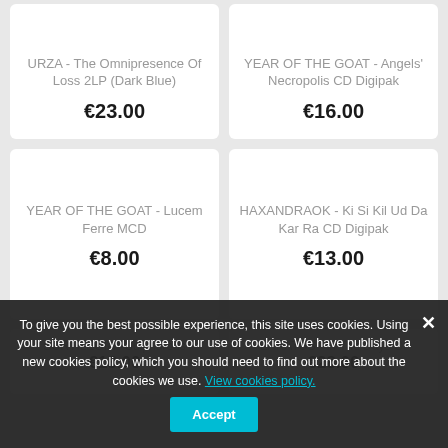URZA - The Omnipresence Of Loss 2LP (Dark Blue)
€23.00
YEAR OF THE GOAT - Angels' Necropolis CD Digipak
€16.00
YEAR OF THE GOAT - Lucem Ferre MCD
€8.00
HAXANDRAOK - Ki Si Kil Ud Da Kar Ra CD Digipak
€13.00
SORTILEGIA - Sulphurous
€13.00
ZARATUS - In The Days Of
€28.00
To give you the best possible experience, this site uses cookies. Using your site means your agree to our use of cookies. We have published a new cookies policy, which you should need to find out more about the cookies we use. View cookies policy.